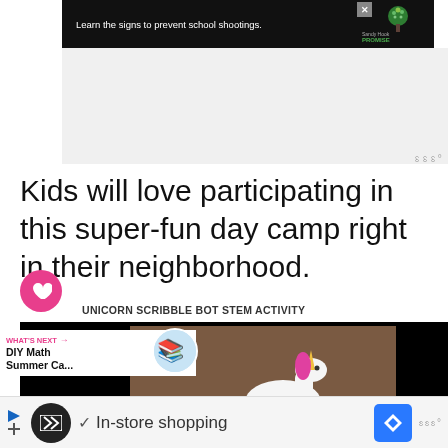[Figure (screenshot): Sandy Hook Promise advertisement banner: 'Learn the signs to prevent school shootings.' with tree logo and Sandy Hook Promise text on black background]
Kids will love participating in this super-fun day camp right in their neighborhood.
551
UNICORN SCRIBBLE BOT STEM ACTIVITY
[Figure (screenshot): What's Next overlay showing DIY Math Summer Ca... with circular thumbnail image and unicorn toy photo on brown background]
[Figure (screenshot): Bottom advertisement bar showing In-store shopping with navigation icon]